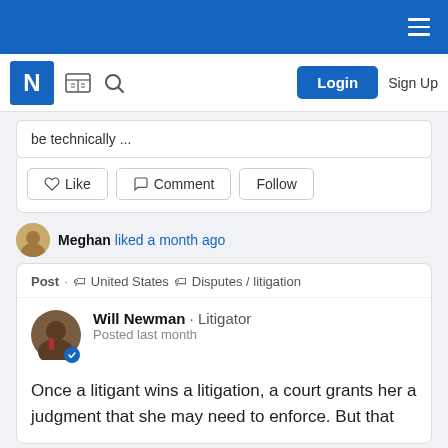Navigation bar with logo N, search, Login, Sign Up
be technically ...
Like  Comment  Follow
Meghan liked a month ago
Post · United States · Disputes / litigation
Will Newman · Litigator
Posted last month
Once a litigant wins a litigation, a court grants her a judgment that she may need to enforce. But that